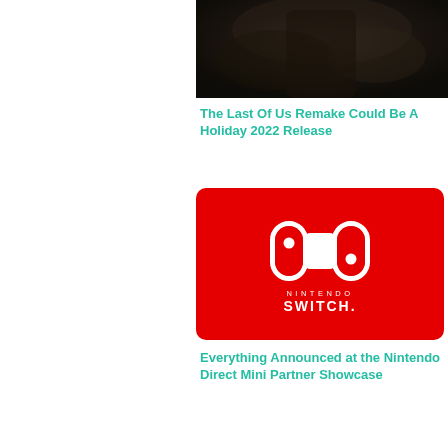[Figure (photo): Dark moody photo of a character, partially visible at top of page, cropped]
The Last Of Us Remake Could Be A Holiday 2022 Release
[Figure (logo): Nintendo Switch logo on red background with white Joy-Con controller icon]
Everything Announced at the Nintendo Direct Mini Partner Showcase
[Figure (screenshot): Black video player panel with a white circle/ring loading indicator]
und, F-Zero, Kid Icarus, Mario
n, star fox, The Legend of
2
[Figure (other): Social share icons: Twitter bird, Facebook F, envelope/email]
[Figure (other): Teal/green back-to-top button with upward chevron arrow]